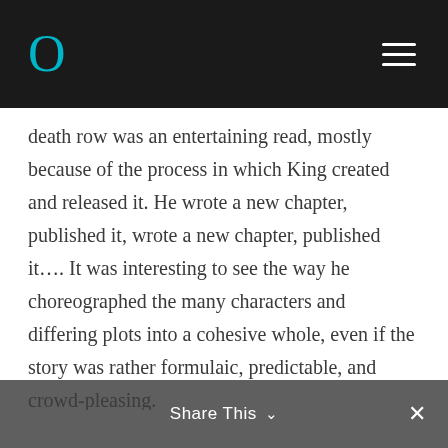O
death row was an entertaining read, mostly because of the process in which King created and released it. He wrote a new chapter, published it, wrote a new chapter, published it…. It was interesting to see the way he choreographed the many characters and differing plots into a cohesive whole, even if the story was rather formulaic, predictable, and crowd-pleasing.
Frank Darabont, who turned a simple King short story into an ambitious movie called The Shawshank Redemption, restrained himself from embellishments this time around. This sprawling three-hour epic
Share This ∨  ✕